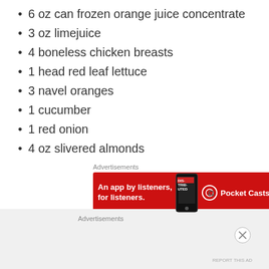6 oz can frozen orange juice concentrate
3 oz limejuice
4 boneless chicken breasts
1 head red leaf lettuce
3 navel oranges
1 cucumber
1 red onion
4 oz slivered almonds
[Figure (other): Pocket Casts advertisement banner: red background with text 'An app by listeners, for listeners.' and Pocket Casts logo with phone image]
Also: lots of crushed garlic, dried mint, oregano, ground
[Figure (other): Second advertisement banner area (gray background, content not visible)]